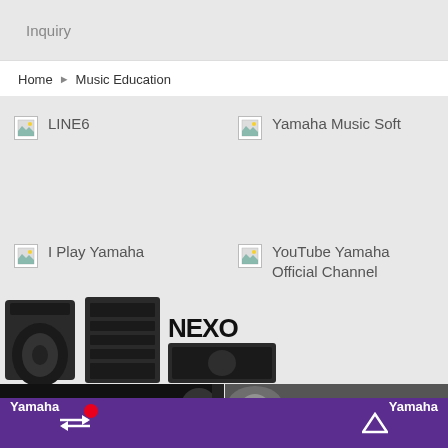Inquiry
Home > Music Education
LINE6
Yamaha Music Soft
I Play Yamaha
YouTube Yamaha Official Channel
[Figure (photo): Product banner showing audio speakers and NEXO branded equipment]
[Figure (screenshot): Video strip showing Yamaha branded content on left and right panels]
[Figure (screenshot): Bottom purple toolbar with transfer icon and up arrow]